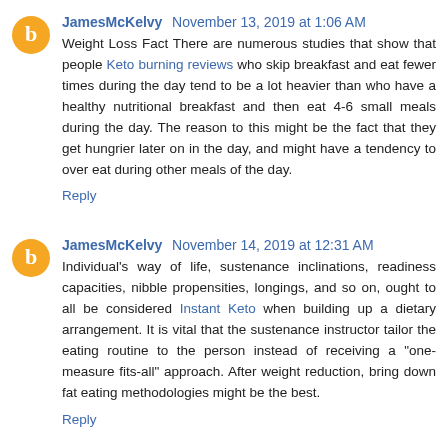JamesMcKelvy November 13, 2019 at 1:06 AM
Weight Loss Fact There are numerous studies that show that people Keto burning reviews who skip breakfast and eat fewer times during the day tend to be a lot heavier than who have a healthy nutritional breakfast and then eat 4-6 small meals during the day. The reason to this might be the fact that they get hungrier later on in the day, and might have a tendency to over eat during other meals of the day.
Reply
JamesMcKelvy November 14, 2019 at 12:31 AM
Individual's way of life, sustenance inclinations, readiness capacities, nibble propensities, longings, and so on, ought to all be considered Instant Keto when building up a dietary arrangement. It is vital that the sustenance instructor tailor the eating routine to the person instead of receiving a "one-measure fits-all" approach. After weight reduction, bring down fat eating methodologies might be the best.
Reply